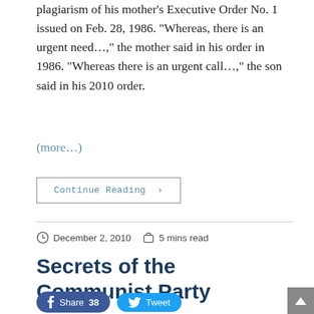plagiarism of his mother’s Executive Order No. 1 issued on Feb. 28, 1986. “Whereas, there is an urgent need…,” the mother said in his order in 1986. “Whereas there is an urgent call…,” the son said in his 2010 order.
(more…)
Continue Reading ›
December 2, 2010   5 mins read
Secrets of the Communist Party
Share 38   Tweet